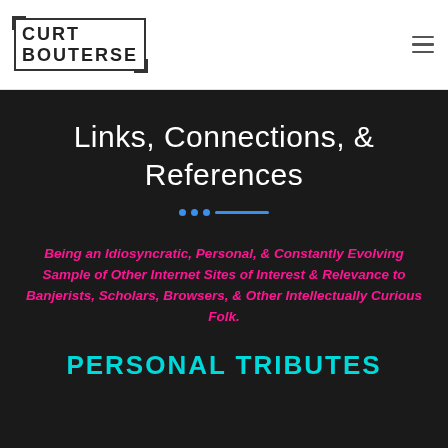[Figure (logo): Curt Bouterse logo in black text with bracket/corner decorative frame]
Curt Bouterse [logo] with hamburger menu icon
Links, Connections, & References
Being an Idiosyncratic, Personal, & Constantly Evolving Sample of Other Internet Sites of Interest & Relevance to Banjerists, Scholars, Browsers, & Other Intellectually Curious Folk.
PERSONAL TRIBUTES